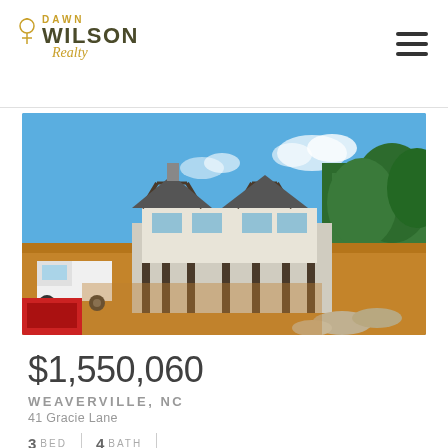Dawn Wilson Realty
[Figure (photo): House under construction on a hillside with exposed timber framing, clear blue sky, dirt lot, construction equipment including white truck and red machinery visible in foreground]
$1,550,060
WEAVERVILLE, NC
41 Gracie Lane
3 BED  4 BATH